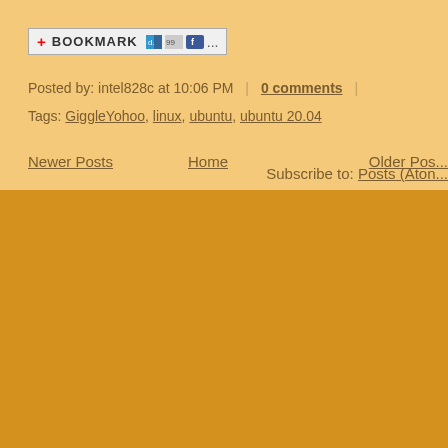[Figure (screenshot): Bookmark toolbar with +BOOKMARK icon and social sharing icons including del.icio.us, Digg, and Facebook]
Posted by: intel828c at 10:06 PM  |  0 comments  |
Tags: GiggleYohoo, linux, ubuntu, ubuntu 20.04
Newer Posts   Home   Older Pos...
Subscribe to: Posts (Atom...